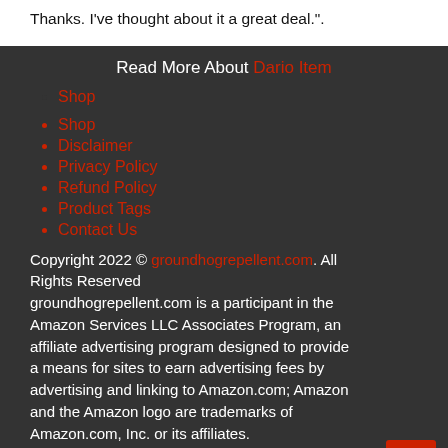Thanks. I've thought about it a great deal.".
Read More About Dario Item
Shop
Disclaimer
Privacy Policy
Refund Policy
Product Tags
Contact Us
Copyright 2022 © groundhogrepellent.com. All Rights Reserved
groundhogrepellent.com is a participant in the Amazon Services LLC Associates Program, an affiliate advertising program designed to provide a means for sites to earn advertising fees by advertising and linking to Amazon.com; Amazon and the Amazon logo are trademarks of Amazon.com, Inc. or its affiliates.